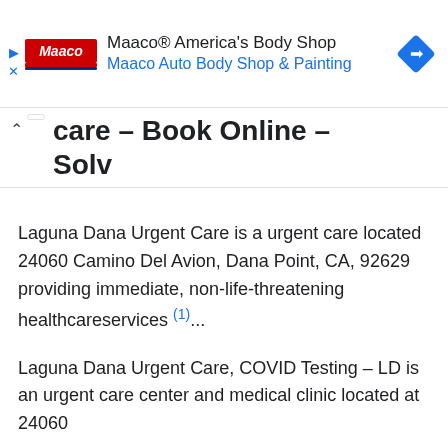[Figure (screenshot): Maaco advertisement banner with logo, title 'Maaco® America's Body Shop', subtitle 'Maaco Auto Body Shop & Painting', and a blue diamond navigation icon]
care – Book Online – Solv
Laguna Dana Urgent Care is a urgent care located 24060 Camino Del Avion, Dana Point, CA, 92629 providing immediate, non-life-threatening healthcareservices (1)...
Laguna Dana Urgent Care, COVID Testing – LD is an urgent care center and medical clinic located at 24060